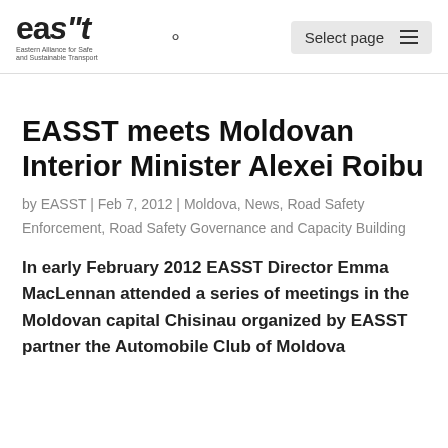east Eastern Alliance for Safe and Sustainable Transport | Select page
EASST meets Moldovan Interior Minister Alexei Roibu
by EASST | Feb 7, 2012 | Moldova, News, Road Safety Enforcement, Road Safety Governance and Capacity Building
In early February 2012 EASST Director Emma MacLennan attended a series of meetings in the Moldovan capital Chisinau organized by EASST partner the Automobile Club of Moldova